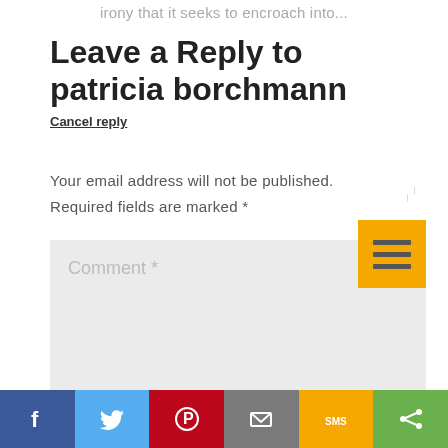irony that it seeks to encroach into...
Leave a Reply to patricia borchmann
Cancel reply
Your email address will not be published. Required fields are marked *
[Figure (screenshot): Comment text area input field with placeholder text 'Comment *' and a hamburger menu button (three horizontal lines on yellow/orange background) overlaid at top right]
[Figure (infographic): Social sharing bar with icons for Facebook (blue), Twitter (light blue), Pinterest (red), Email (grey), SMS (yellow/orange), Share (green)]